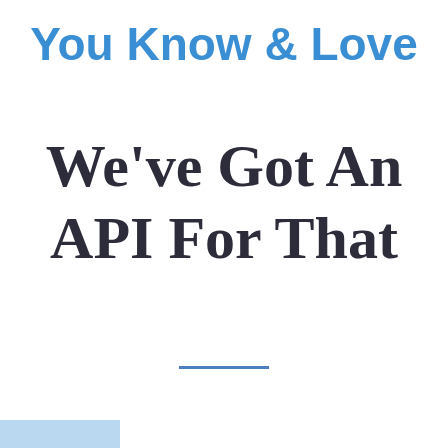You Know & Love
We've Got An API For That